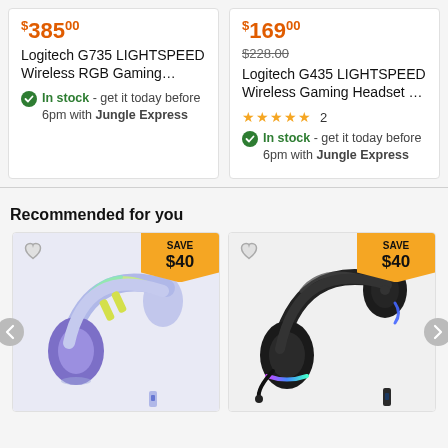$385.00 — Logitech G735 LIGHTSPEED Wireless RGB Gaming... In stock - get it today before 6pm with Jungle Express
$169.00 (was $228.00) — Logitech G435 LIGHTSPEED Wireless Gaming Headset ... ★★★★★ 2 — In stock - get it today before 6pm with Jungle Express
Recommended for you
[Figure (photo): Purple/lilac Logitech gaming headset with SAVE $40 badge]
[Figure (photo): Black Logitech gaming headset with RGB lighting and SAVE $40 badge]